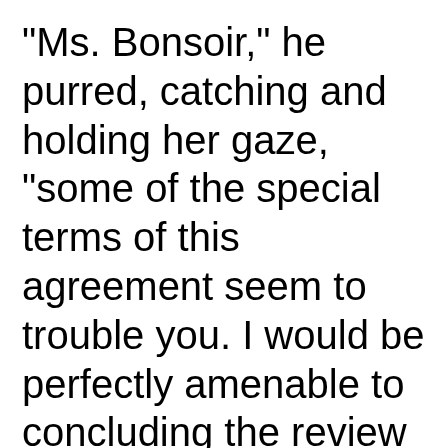"Ms. Bonsoir," he purred, catching and holding her gaze, "some of the special terms of this agreement seem to trouble you. I would be perfectly amenable to concluding the review at this point and moving directly to the signature